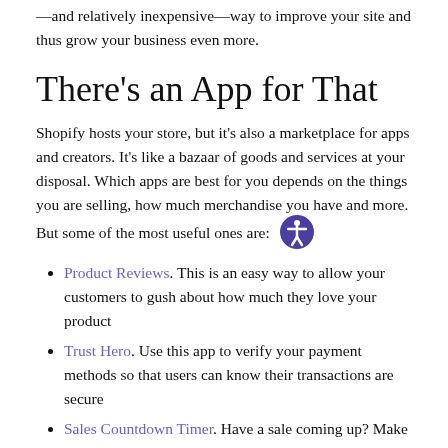—and relatively inexpensive—way to improve your site and thus grow your business even more.
There's an App for That
Shopify hosts your store, but it's also a marketplace for apps and creators. It's like a bazaar of goods and services at your disposal. Which apps are best for you depends on the things you are selling, how much merchandise you have and more. But some of the most useful ones are:
Product Reviews. This is an easy way to allow your customers to gush about how much they love your product
Trust Hero. Use this app to verify your payment methods so that users can know their transactions are secure
Sales Countdown Timer. Have a sale coming up? Make sure your users know about it. They'll start